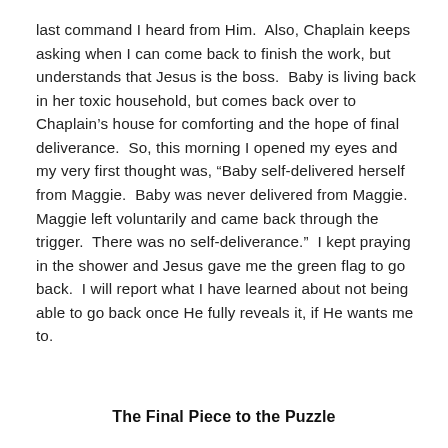last command I heard from Him.  Also, Chaplain keeps asking when I can come back to finish the work, but understands that Jesus is the boss.  Baby is living back in her toxic household, but comes back over to Chaplain's house for comforting and the hope of final deliverance.  So, this morning I opened my eyes and my very first thought was, “Baby self-delivered herself from Maggie.  Baby was never delivered from Maggie.  Maggie left voluntarily and came back through the trigger.  There was no self-deliverance.”  I kept praying in the shower and Jesus gave me the green flag to go back.  I will report what I have learned about not being able to go back once He fully reveals it, if He wants me to.
The Final Piece to the Puzzle